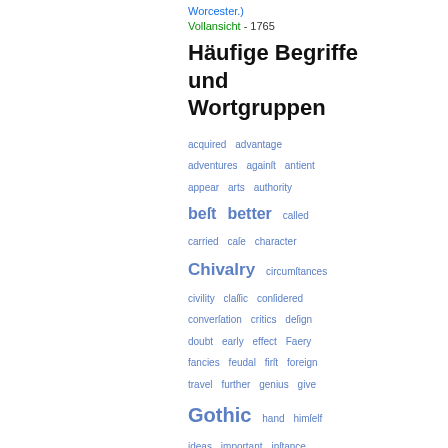Worcester.)
Vollansicht - 1765
Häufige Begriffe und Wortgruppen
acquired advantage adventures againſt antient appear arts authority beſt better called carried caſe character Chivalry circumſtances civility claſſic conſidered converſation critics deſign doubt early effect Faery fancies feudal firſt foreign travel further genius give Gothic hand himſelf ideas important inſtance